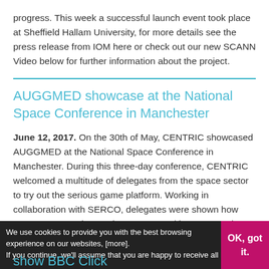progress. This week a successful launch event took place at Sheffield Hallam University, for more details see the press release from IOM here or check out our new SCANN Video below for further information about the project.
AUGGMED showcase at the National Space Conference in Manchester
June 12, 2017. On the 30th of May, CENTRIC showcased AUGGMED at the National Space Conference in Manchester. During this three-day conference, CENTRIC welcomed a multitude of delegates from the space sector to try out the serious game platform. Working in collaboration with SERCO, delegates were shown how AUGGMED can be used to support multi-agency work, illustrating how intelligence ...
We use cookies to provide you with the best browsing experience on our websites, [more]. If you continue, we'll assume that you are happy to receive all
OK, got it.
show BBC Click